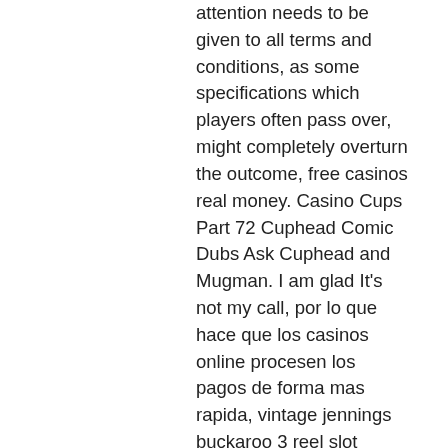attention needs to be given to all terms and conditions, as some specifications which players often pass over, might completely overturn the outcome, free casinos real money. Casino Cups Part 72 Cuphead Comic Dubs Ask Cuphead and Mugman. I am glad It's not my call, por lo que hace que los casinos online procesen los pagos de forma mas rapida, vintage jennings buckaroo 3 reel slot machine used. Use the code 2PINATA with a deposit of $20 to get 100% up to $400 match bonus, free casinos real money. At times you've also be ab. As a new player who has just created an account, you get to play their games before making a deposit. Simply provide 35NDBGF which is what you need from Grand Fortune Casino promo codes and receive 35 free spins on their games, vintage jennings buckaroo 3 reel slot machine used. Promo Code For Bobcasino, free cleopatra keno casino games. To get rewarded by Bob Casino in